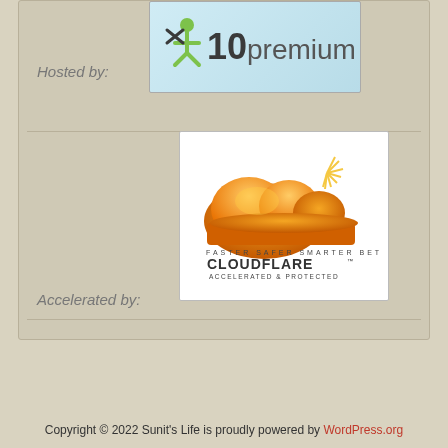Hosted by:
[Figure (logo): X10 Premium hosting logo — green and black wordmark with stylized X and person icon on light blue background]
[Figure (logo): CloudFlare logo — orange cloud graphic above text reading 'FASTER SAFER SMARTER BETTER' and 'CLOUDFLARE™ ACCELERATED & PROTECTED' on white background]
Accelerated by:
Copyright © 2022 Sunit's Life is proudly powered by WordPress.org